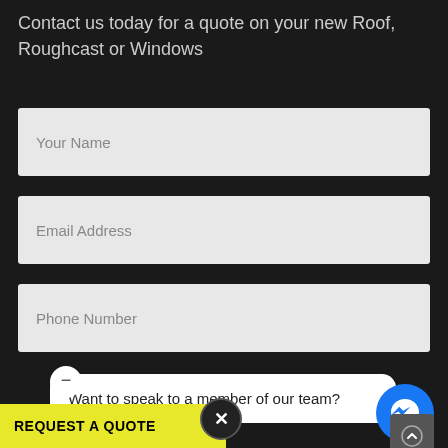Contact us today for a quote on your new Roof, Roughcast or Windows
[Figure (screenshot): Web contact form with fields for Your Name, Email Address, Phone Number on dark background, with a Facebook Messenger chat bubble overlay saying 'Want to speak to a member of our team?', a close button, a Messenger icon button, a scroll-up button, and a yellow REQUEST A QUOTE button at the bottom.]